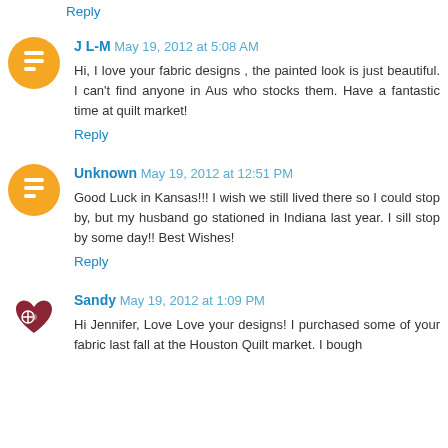Reply
J L-M May 19, 2012 at 5:08 AM
Hi, I love your fabric designs , the painted look is just beautiful. I can't find anyone in Aus who stocks them. Have a fantastic time at quilt market!
Reply
Unknown May 19, 2012 at 12:51 PM
Good Luck in Kansas!!! I wish we still lived there so I could stop by, but my husband go stationed in Indiana last year. I sill stop by some day!! Best Wishes!
Reply
Sandy May 19, 2012 at 1:09 PM
Hi Jennifer, Love Love your designs! I purchased some of your fabric last fall at the Houston Quilt market. I bought